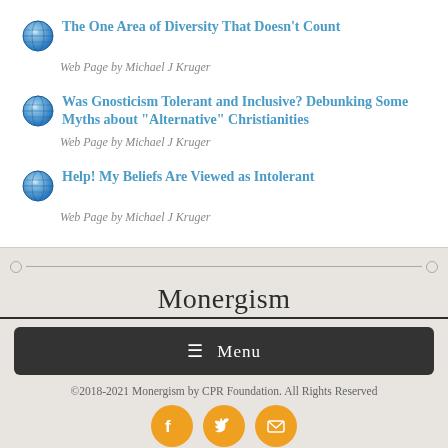The One Area of Diversity That Doesn't Count
Web Page by Michael J Kruger
Was Gnosticism Tolerant and Inclusive? Debunking Some Myths about "Alternative" Christianities
Web Page by Michael J Kruger
Help! My Beliefs Are Viewed as Intolerant
Web Page by Michael J Kruger
Monergism
≡ Menu
©2018-2021 Monergism by CPR Foundation. All Rights Reserved